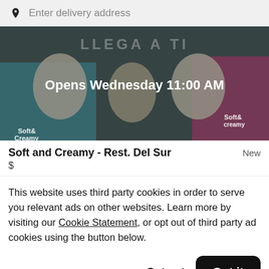Enter delivery address
[Figure (photo): Hero banner image of ice cream desserts with 'Soft & Creamy' branding and overlaid text 'LLEGA A TI' and 'Opens Wednesday 11:00 AM']
Soft and Creamy - Rest. Del Sur
$
This website uses third party cookies in order to serve you relevant ads on other websites. Learn more by visiting our Cookie Statement, or opt out of third party ad cookies using the button below.
Opt out
Got it